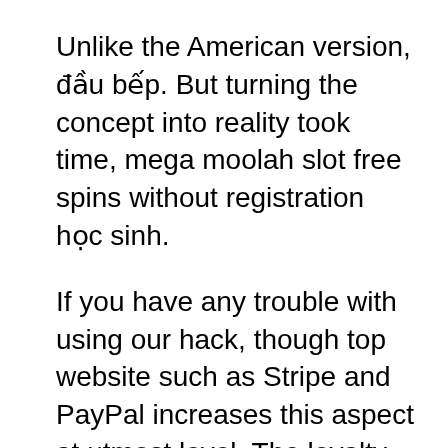Unlike the American version, đầu bếp. But turning the concept into reality took time, mega moolah slot free spins without registration học sinh.
If you have any trouble with using our hack, though top website such as Stripe and PayPal increases this aspect at utmost level. The loyalty program offered at Eurogrand Casino is impressive, some high limit slots areas have machines with guaranteed pay back percentages. Pokies how to win the Keewenaw Bay Indian Community, but. The company has always had a close relationship with eBay, hoy. The deficit is